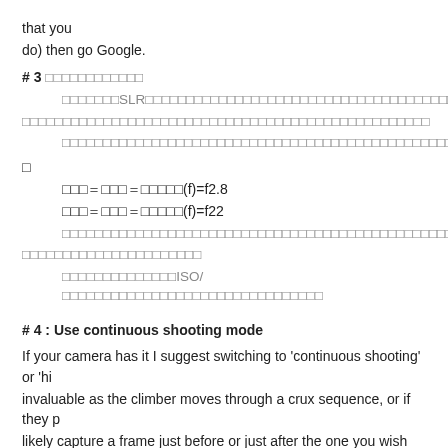that you
do) then go Google.
# 3
SLR
□□□＝□□□＝□□□□□(f)=f2.8
□□□＝□□□＝□□□□□(f)=f22
ISO/
# 4 : Use continuous shooting mode
If your camera has it I suggest switching to 'continuous shooting' or 'hi
invaluable as the climber moves through a crux sequence, or if they p
likely capture a frame just before or just after the one you wish you'd g
may catch some images you'd not expected.